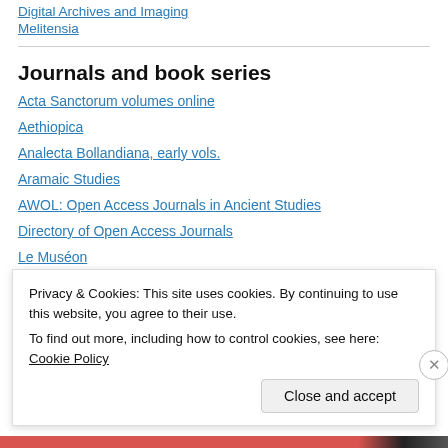Digital Archives and Imaging
Melitensia
Journals and book series
Acta Sanctorum volumes online
Aethiopica
Analecta Bollandiana, early vols.
Aramaic Studies
AWOL: Open Access Journals in Ancient Studies
Directory of Open Access Journals
Le Muséon
Manuscripta Orientalia
Privacy & Cookies: This site uses cookies. By continuing to use this website, you agree to their use. To find out more, including how to control cookies, see here: Cookie Policy
Close and accept